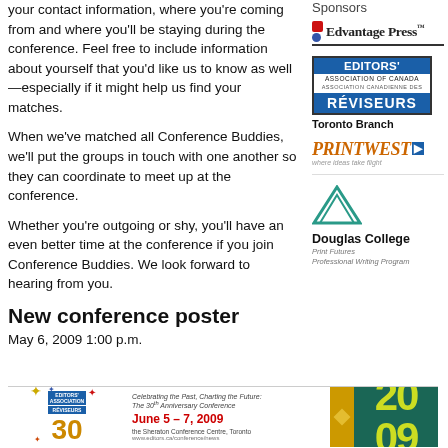your contact information, where you're coming from and where you'll be staying during the conference. Feel free to include information about yourself that you'd like us to know as well—especially if it might help us find your matches.
When we've matched all Conference Buddies, we'll put the groups in touch with one another so they can coordinate to meet up at the conference.
Whether you're outgoing or shy, you'll have an even better time at the conference if you join Conference Buddies. We look forward to hearing from you.
New conference poster
May 6, 2009 1:00 p.m.
Sponsors
[Figure (logo): Edvantage Press logo with red square and blue circle icons]
[Figure (logo): Editors' Association of Canada / Association Canadienne des Réviseurs - Toronto Branch logo]
[Figure (logo): Printwest logo in italic orange/brown text with blue arrow and tagline]
[Figure (logo): Douglas College Print Futures Professional Writing Program logo with teal triangle]
[Figure (illustration): Conference poster preview showing 30th Anniversary Conference, June 5-7 2009, Sheraton Conference Centre Toronto, with gold bar and 2009 in yellow on teal background]